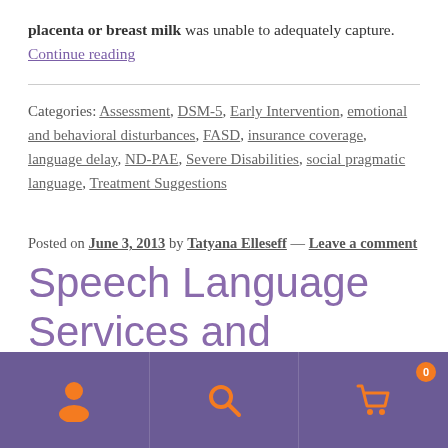placenta or breast milk was unable to adequately capture. Continue reading
Categories: Assessment, DSM-5, Early Intervention, emotional and behavioral disturbances, FASD, insurance coverage, language delay, ND-PAE, Severe Disabilities, social pragmatic language, Treatment Suggestions
Posted on June 3, 2013 by Tatyana Elleseff — Leave a comment
Speech Language Services and Insurance
[Figure (other): Purple navigation bar with three icons: person/user icon, search/magnifying glass icon, and shopping cart icon with badge showing 0]